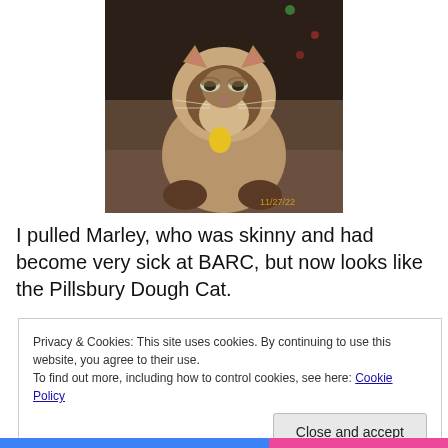[Figure (photo): A Siamese cat with a yellow tag collar sitting and looking at the camera. The photo has a timestamp '11/27/22' in the lower right corner. Dark background.]
I pulled Marley, who was skinny and had become very sick at BARC, but now looks like the Pillsbury Dough Cat.
Privacy & Cookies: This site uses cookies. By continuing to use this website, you agree to their use.
To find out more, including how to control cookies, see here: Cookie Policy